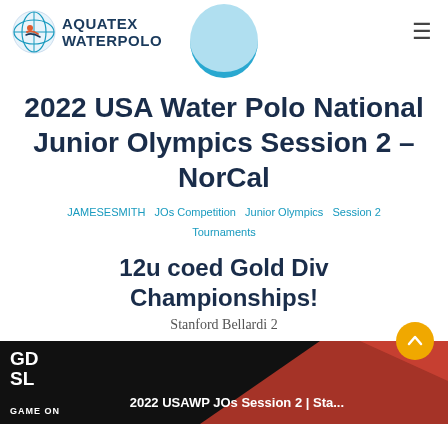AQUATEX WATERPOLO
2022 USA Water Polo National Junior Olympics Session 2 – NorCal
JAMESESMITH  JOs Competition  Junior Olympics  Session 2  Tournaments
12u coed Gold Div Championships!
Stanford Bellardi 2
[Figure (screenshot): Video thumbnail showing 2022 USAWP JOs Session 2 | Sta... with GDSL GAME ON branding on dark background]